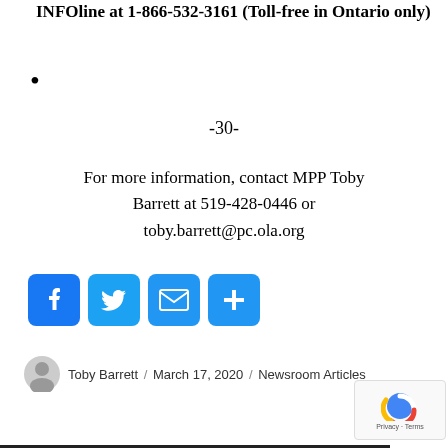INFOline at 1-866-532-3161 (Toll-free in Ontario only)
-30-
For more information, contact MPP Toby Barrett at 519-428-0446 or toby.barrett@pc.ola.org
[Figure (infographic): Social sharing icons: Facebook, Twitter, Email, Share (plus)]
Toby Barrett / March 17, 2020 / Newsroom Articles